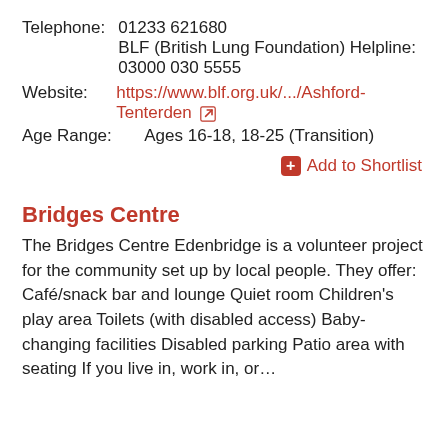Telephone: 01233 621680
BLF (British Lung Foundation) Helpline: 03000 030 5555
Website: https://www.blf.org.uk/.../Ashford-Tenterden
Age Range: Ages 16-18, 18-25 (Transition)
Add to Shortlist
Bridges Centre
The Bridges Centre Edenbridge is a volunteer project for the community set up by local people. They offer: Café/snack bar and lounge Quiet room Children's play area Toilets (with disabled access) Baby-changing facilities Disabled parking Patio area with seating If you live in, work in, or...